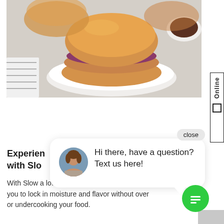[Figure (photo): A pulled pork or chicken sandwich with purple coleslaw and pickles on a brioche bun, served on a white plate. Background shows striped cloth and a bowl of sauce.]
close
[Figure (screenshot): Chat widget popup showing avatar of a woman and message: Hi there, have a question? Text us here!]
Experien with Slo
With Slow a lower te you to lock in moisture and flavor without over or undercooking your food.